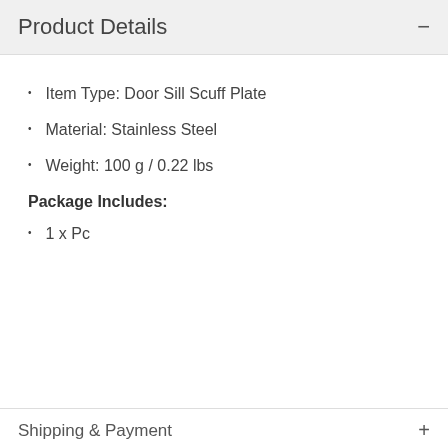Product Details
Item Type: Door Sill Scuff Plate
Material: Stainless Steel
Weight: 100 g / 0.22 lbs
Package Includes:
1 x Pc
Shipping & Payment